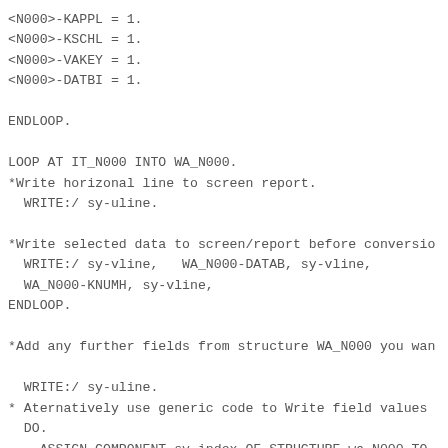<N000>-KAPPL = 1.
<N000>-KSCHL = 1.
<N000>-VAKEY = 1.
<N000>-DATBI = 1.

ENDLOOP.

LOOP AT IT_N000 INTO WA_N000.
*Write horizonal line to screen report.
  WRITE:/ sy-uline.

*Write selected data to screen/report before conversio
  WRITE:/ sy-vline,   WA_N000-DATAB, sy-vline,
  WA_N000-KNUMH, sy-vline,
ENDLOOP.

*Add any further fields from structure WA_N000 you wan

  WRITE:/ sy-uline.
* Aternatively use generic code to Write field values
  DO.
    ASSIGN COMPONENT sy-index OF STRUCTURE wa_N000 TO